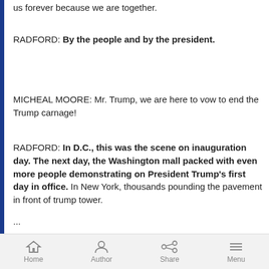us forever because we are together.
RADFORD: By the people and by the president.
MICHEAL MOORE: Mr. Trump, we are here to vow to end the Trump carnage!
RADFORD: In D.C., this was the scene on inauguration day. The next day, the Washington mall packed with even more people demonstrating on President Trump's first day in office. In New York, thousands pounding the pavement in front of trump tower.
...
Home  Author  Share  Menu